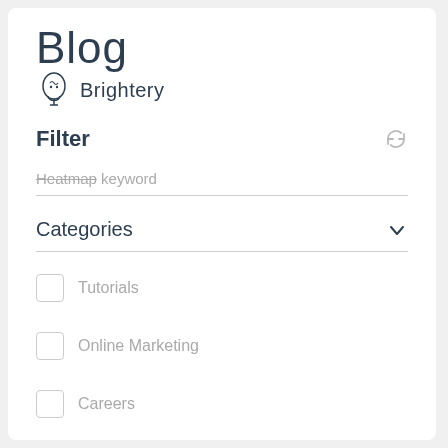Blog
Brightery
Filter
Heatmap keyword
Categories
Tutorials
Online Marketing
Careers